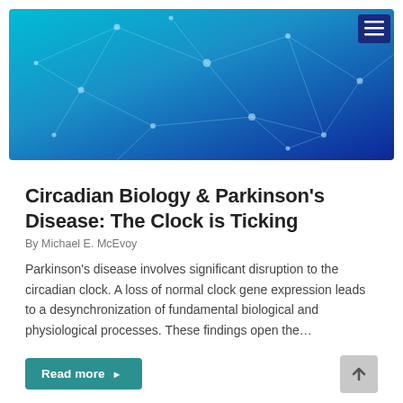[Figure (illustration): Hero banner image showing a blue and teal abstract network/neural connections graphic with glowing nodes and lines on a gradient blue background. A dark navy hamburger menu icon is in the top-right corner.]
Circadian Biology & Parkinson's Disease: The Clock is Ticking
By Michael E. McEvoy
Parkinson's disease involves significant disruption to the circadian clock. A loss of normal clock gene expression leads to a desynchronization of fundamental biological and physiological processes. These findings open the...
Read more ▶